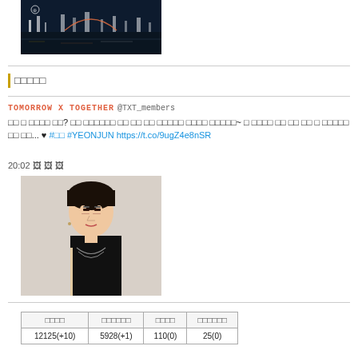[Figure (photo): Nighttime cityscape with water reflection, dark sky, city lights, and a Paralympic symbol visible]
□□□□□
TOMORROW X TOGETHER @TXT_members
□□ □ □□□□ □□? □□ □□□□□□ □□ □□ □□ □□□□□ □□□□ □□□□□~ □ □□□□ □□ □□ □□ □ □□□□□ □□ □□... ♥ #□□ #YEONJUN https://t.co/9ugZ4e8nSR
20:02 🖼 🖼 🖼
[Figure (photo): Portrait photo of a young man with short dark hair wearing black sleeveless top with chain accessory, looking to the side]
| □□□□ | □□□□□□ | □□□□ | □□□□□□ |
| --- | --- | --- | --- |
| 12125(+10) | 5928(+1) | 110(0) | 25(0) |